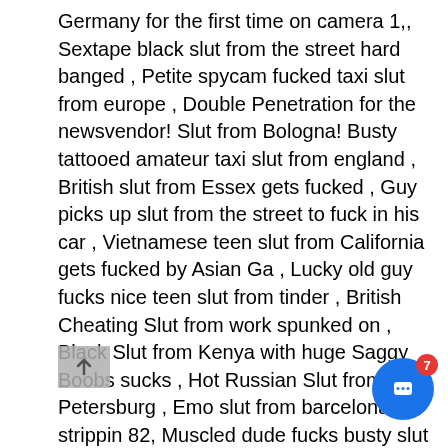Germany for the first time on camera 1,, Sextape black slut from the street hard banged , Petite spycam fucked taxi slut from europe , Double Penetration for the newsvendor! Slut from Bologna! Busty tattooed amateur taxi slut from england , British slut from Essex gets fucked , Guy picks up slut from the street to fuck in his car , Vietnamese teen slut from California gets fucked by Asian Ga , Lucky old guy fucks nice teen slut from tinder , British Cheating Slut from work spunked on , Black Slut from Kenya with huge Saggy Boobs sucks , Hot Russian Slut from St Petersburg , Emo slut from barcelona strippin 82, Muscled dude fucks busty slut from behind 59, Another slut from Tuscany altra troia toscana 92, Teen slut from Wales, Caitlyn Kirby gets pussy eaten by boss 65, German slut from chat make her first time userdate with bbc 64, Mandy 2 slut from Rotherham in Yorkshire 70, White slut from Tinder sucking me off park 64, Korean Slut from Tinder Sucks for a Facial Teen Slut From Next Door 49, Sexy slut from Trinidad,